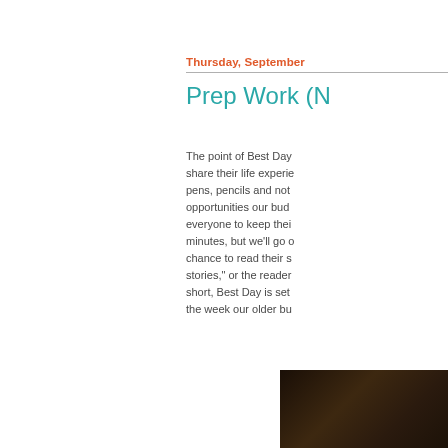Thursday, September
Prep Work (N
The point of Best Day... share their life experie... pens, pencils and not... opportunities our bud... everyone to keep thei... minutes, but we'll go o... chance to read their s... stories," or the reader... short, Best Day is set... the week our older bu...
[Figure (photo): Dark colored photo, partially cropped, showing what appears to be a dark interior or object]